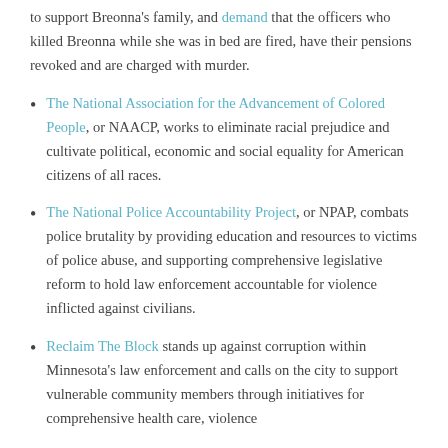to support Breonna's family, and demand that the officers who killed Breonna while she was in bed are fired, have their pensions revoked and are charged with murder.
The National Association for the Advancement of Colored People, or NAACP, works to eliminate racial prejudice and cultivate political, economic and social equality for American citizens of all races.
The National Police Accountability Project, or NPAP, combats police brutality by providing education and resources to victims of police abuse, and supporting comprehensive legislative reform to hold law enforcement accountable for violence inflicted against civilians.
Reclaim The Block stands up against corruption within Minnesota's law enforcement and calls on the city to support vulnerable community members through initiatives for comprehensive health care, violence